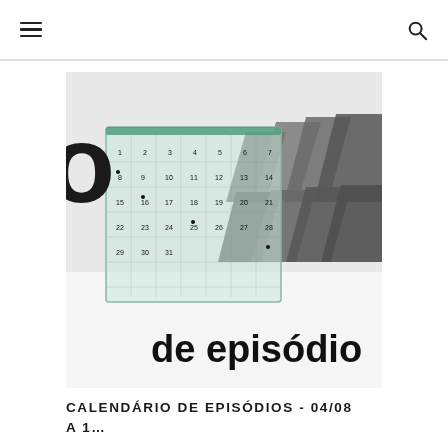[hamburger menu icon] [search icon]
[Figure (photo): Close-up photo of a small glass/acrylic desk calendar showing a month grid with numbered dates, placed in front of dark gray chevron/arrow shaped objects. Below and to the right, partial text reads 'de episódio' in large black letters on white background.]
CALENDÁRIO DE EPISÓDIOS - 04/08 A 1...